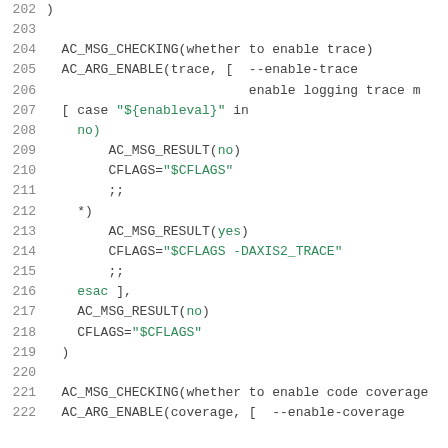Code listing lines 202-222 of a configure.ac or similar autoconf script